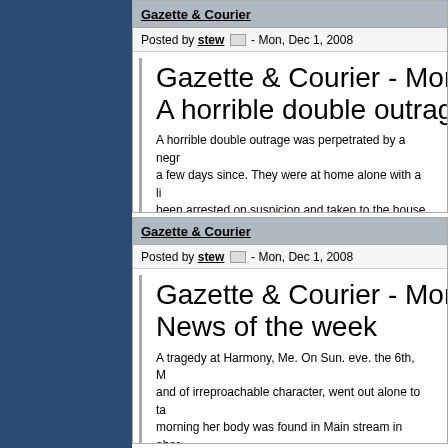Gazette & Courier
Posted by stew - Mon, Dec 1, 2008
Gazette & Courier - Monda... A horrible double outrage w...
A horrible double outrage was perpetrated by a negr... a few days since. They were at home alone with a li... been arrested on suspicion and taken to the house fo...
Subjects: African-Americans / Blacks, Children, Cri...
Gazette & Courier
Posted by stew - Mon, Dec 1, 2008
Gazette & Courier - Monda... News of the week
A tragedy at Harmony, Me. On Sun. eve. the 6th, M... and of irreproachable character, went out alone to ta... morning her body was found in Main stream in abor... held.
Subjects: Crime, Criminals, Medical Personnel, Mu...